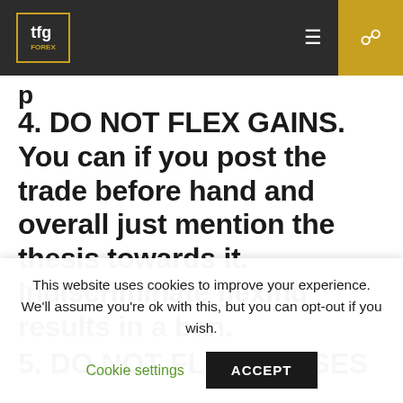tfg
p
4. DO NOT FLEX GAINS. You can if you post the trade before hand and overall just mention the thesis towards it. Indiscriminate flexing results in a ban.
5. DO NOT FLEX LOSSES
This website uses cookies to improve your experience. We'll assume you're ok with this, but you can opt-out if you wish.
Cookie settings  ACCEPT